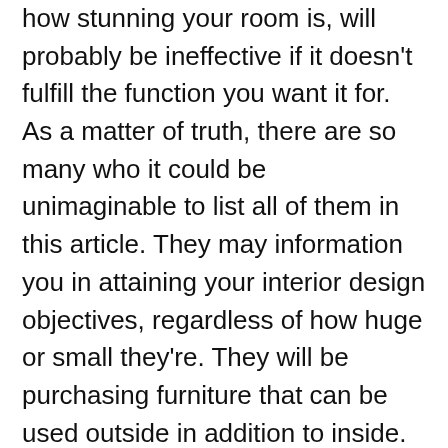how stunning your room is, will probably be ineffective if it doesn't fulfill the function you want it for. As a matter of truth, there are so many who it could be unimaginable to list all of them in this article. They may information you in attaining your interior design objectives, regardless of how huge or small they're. They will be purchasing furniture that can be used outside in addition to inside. 4. Minerals - Minerals of every type might be in.
Actually, there are three basic tips for a successful interior design - whether your room could be very small or very huge. A room is taken into account practical if it serves its meant goal. Search for bowls of pyrite, quartz chunks as show pieces and bowls with unpolished semi-valuable stones. A small residence can look greater, if you happen to simply know how you can make the most of all of the house and use the appropriate furnishings and accessories. Even if